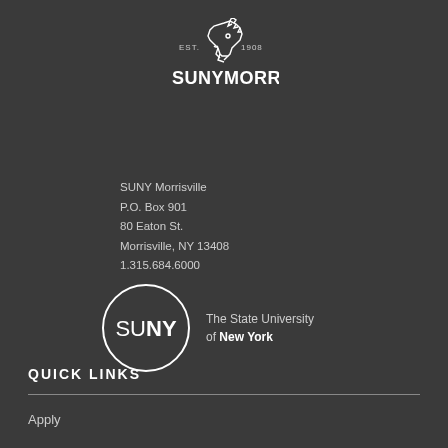[Figure (logo): SUNY Morrisville logo with horse head graphic, EST. 1908 text, and SUNYMORRISVILLE wordmark]
SUNY Morrisville
P.O. Box 901
80 Eaton St.
Morrisville, NY 13408
1.315.684.6000
[Figure (logo): SUNY circle logo with text 'The State University of New York']
QUICK LINKS
Apply